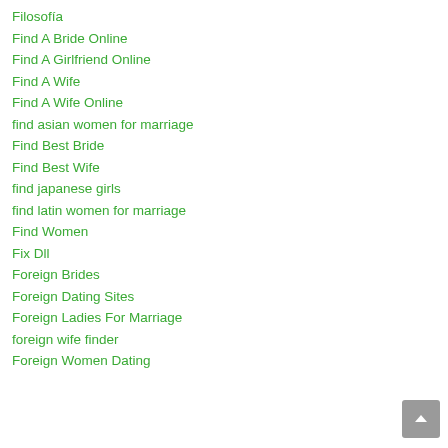Filosofía
Find A Bride Online
Find A Girlfriend Online
Find A Wife
Find A Wife Online
find asian women for marriage
Find Best Bride
Find Best Wife
find japanese girls
find latin women for marriage
Find Women
Fix Dll
Foreign Brides
Foreign Dating Sites
Foreign Ladies For Marriage
foreign wife finder
Foreign Women Dating